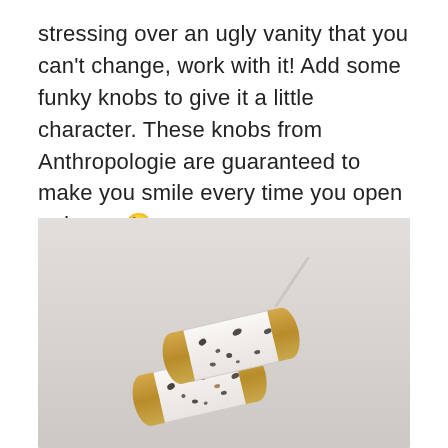stressing over an ugly vanity that you can't change, work with it! Add some funky knobs to give it a little character. These knobs from Anthropologie are guaranteed to make you smile every time you open a drawer😊
[Figure (photo): Two white cylindrical drawer knobs with black speckled pattern and gold/brass metal end caps, lying on a light gray background. One knob has its screw pin visible extending upward.]